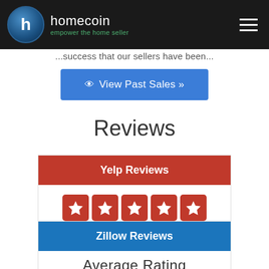homecoin — empower the home seller
...success that our sellers have been...
View Past Sales »
Reviews
Yelp Reviews
[Figure (other): 5 red star rating icons on a white background]
(View all 98 reviews)
Zillow Reviews
Average Rating
[Figure (other): 4.5 green star rating icons]
(View all 45 reviews)